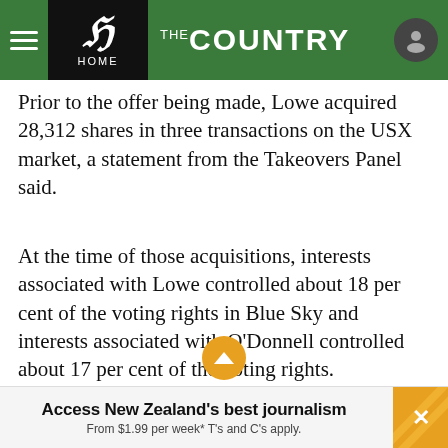THE COUNTRY — HOME
Prior to the offer being made, Lowe acquired 28,312 shares in three transactions on the USX market, a statement from the Takeovers Panel said.
At the time of those acquisitions, interests associated with Lowe controlled about 18 per cent of the voting rights in Blue Sky and interests associated with O'Donnell controlled about 17 per cent of the voting rights.
ADVERTISEMENT
[Figure (screenshot): Advertisement image placeholder showing light gray and teal gradient.]
Access New Zealand's best journalism From $1.99 per week* T's and C's apply.